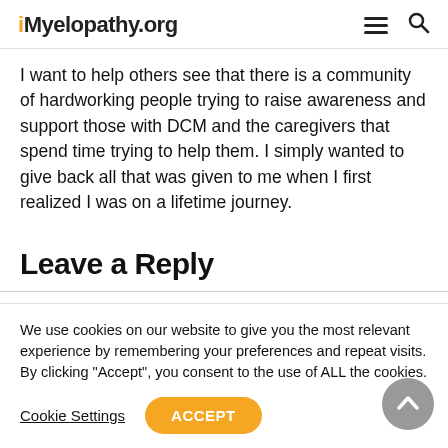Myelopathy.org
I want to help others see that there is a community of hardworking people trying to raise awareness and support those with DCM and the caregivers that spend time trying to help them. I simply wanted to give back all that was given to me when I first realized I was on a lifetime journey.
Leave a Reply
We use cookies on our website to give you the most relevant experience by remembering your preferences and repeat visits. By clicking “Accept”, you consent to the use of ALL the cookies.